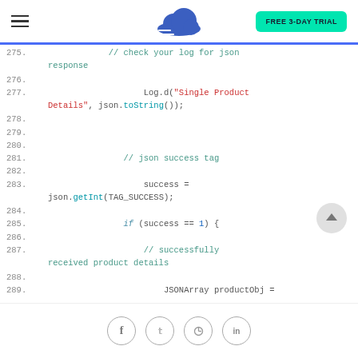Navigation bar with hamburger menu, cloud logo, and FREE 3-DAY TRIAL button
[Figure (screenshot): Code editor screenshot showing Java/Android code lines 275-289 with line numbers, comments in green, string literals in red, method names in blue/teal]
Social sharing icons: Facebook, Twitter, Pinterest, LinkedIn